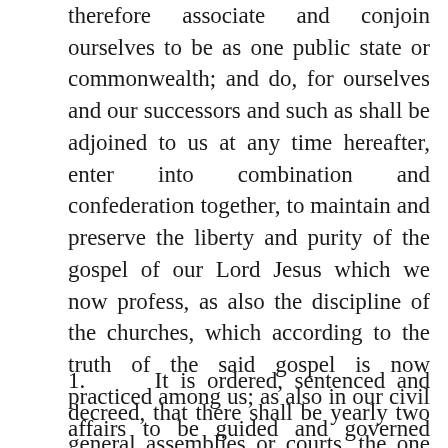therefore associate and conjoin ourselves to be as one public state or commonwealth; and do, for ourselves and our successors and such as shall be adjoined to us at any time hereafter, enter into combination and confederation together, to maintain and preserve the liberty and purity of the gospel of our Lord Jesus which we now profess, as also the discipline of the churches, which according to the truth of the said gospel is now practiced among us; as also in our civil affairs to be guided and governed according to such laws, rules, orders and decrees as shall be made, ordered and decreed, as follows:
1.     It is ordered, sentenced and decreed, that there shall be yearly two general assemblies or courts, the one the second Thursday in April, the other the second Thursday in September